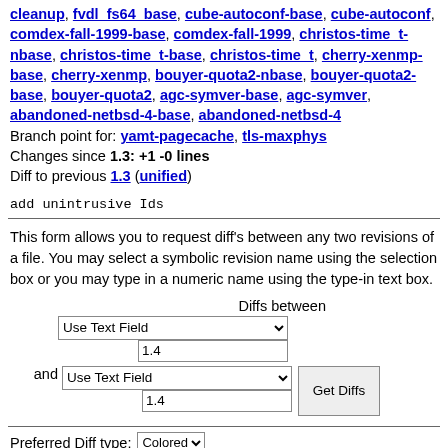cleanup, fvdl_fs64_base, cube-autoconf-base, cube-autoconf, comdex-fall-1999-base, comdex-fall-1999, christos-time_t-nbase, christos-time_t-base, christos-time_t, cherry-xenmp-base, cherry-xenmp, bouyer-quota2-nbase, bouyer-quota2-base, bouyer-quota2, agc-symver-base, agc-symver, abandoned-netbsd-4-base, abandoned-netbsd-4
Branch point for: yamt-pagecache, tls-maxphys
Changes since 1.3: +1 -0 lines
Diff to previous 1.3 (unified)
add unintrusive Ids
This form allows you to request diff's between any two revisions of a file. You may select a symbolic revision name using the selection box or you may type in a numeric name using the type-in text box.
[Figure (screenshot): Form with dropdowns and text fields for selecting diff revisions. Labels: 'Diffs between', 'Use Text Field' dropdown, '1.4' text input, 'and', 'Use Text Field' dropdown, '1.4' text input, 'Get Diffs' button.]
Preferred Diff type: Colored (dropdown)